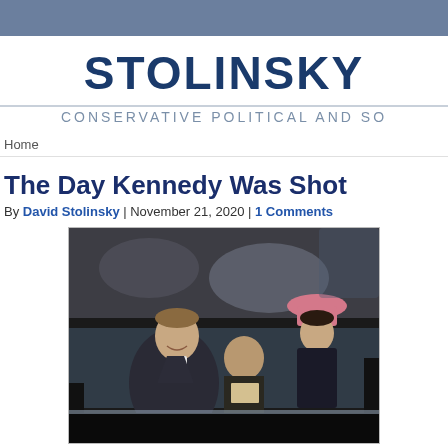STOLINSKY
CONSERVATIVE POLITICAL AND SO
Home
The Day Kennedy Was Shot
By David Stolinsky | November 21, 2020 | 1 Comments
[Figure (photo): Color photograph of President John F. Kennedy smiling in the presidential limousine, with Jacqueline Kennedy visible wearing a pink hat in the background, and another person in between them. The photo appears to be taken just before or during the Dallas motorcade.]